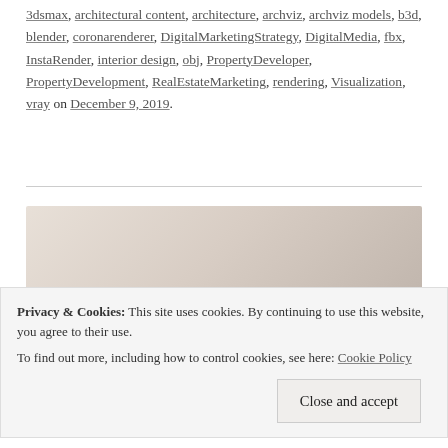3dsmax, architectural content, architecture, archviz, archviz models, b3d, blender, coronarenderer, DigitalMarketingStrategy, DigitalMedia, fbx, InstaRender, interior design, obj, PropertyDeveloper, PropertyDevelopment, RealEstateMarketing, rendering, Visualization, vray on December 9, 2019.
[Figure (photo): A rendered architectural visualization image showing a gradient beige/cream interior or exterior surface, partially visible.]
Privacy & Cookies: This site uses cookies. By continuing to use this website, you agree to their use.
To find out more, including how to control cookies, see here: Cookie Policy